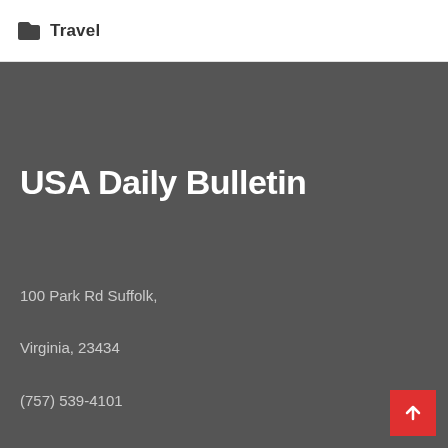Travel
USA Daily Bulletin
100 Park Rd Suffolk,
Virginia, 23434
(757) 539-4101